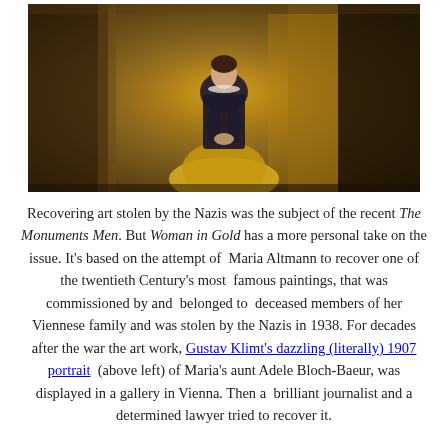[Figure (photo): A woman in an ornate black and gold gown stands center-frame in a dimly lit, richly decorated setting. A bearded man is partially visible on the right edge. The background features golden tapestries and warm amber tones.]
Recovering art stolen by the Nazis was the subject of the recent The Monuments Men. But Woman in Gold has a more personal take on the issue. It's based on the attempt of Maria Altmann to recover one of the twentieth Century's most famous paintings, that was commissioned by and belonged to deceased members of her Viennese family and was stolen by the Nazis in 1938. For decades after the war the art work, Gustav Klimt's dazzling (literally) 1907 portrait (above left) of Maria's aunt Adele Bloch-Baeur, was displayed in a gallery in Vienna. Then a brilliant journalist and a determined lawyer tried to recover it.